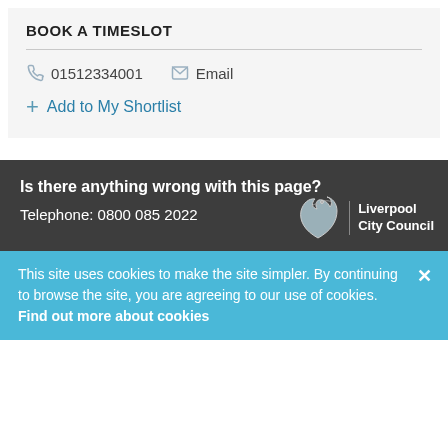BOOK A TIMESLOT
01512334001   Email
+ Add to My Shortlist
Is there anything wrong with this page?
Telephone: 0800 085 2022
[Figure (logo): Liverpool City Council logo with Liver Bird emblem and text]
This site uses cookies to make the site simpler. By continuing to browse the site, you are agreeing to our use of cookies. Find out more about cookies